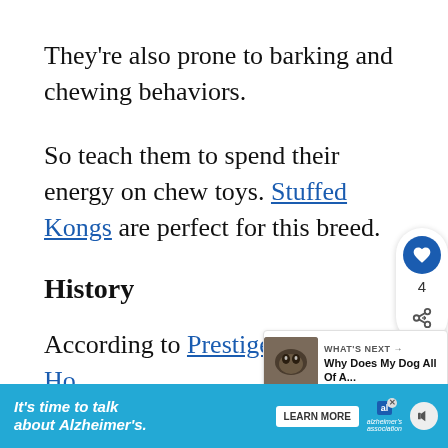They’re also prone to barking and chewing behaviors.
So teach them to spend their energy on chew toys. Stuffed Kongs are perfect for this breed.
History
According to Prestige Animal Ho... the Maltese is one of the oldest dog b...
[Figure (other): Like/share widget with heart icon showing count 4]
[Figure (other): What's Next panel: Why Does My Dog All Of A...]
[Figure (other): Ad banner: It's time to talk about Alzheimer's. Learn More. Alzheimer's Association.]